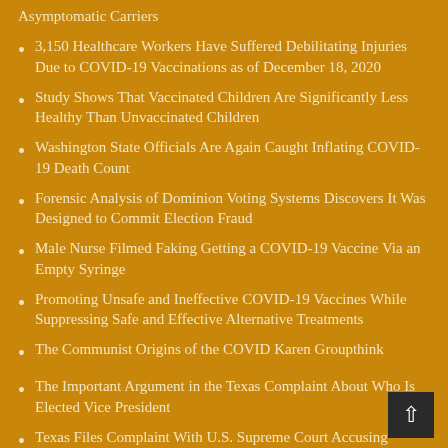Asymptomatic Carriers
3,150 Healthcare Workers Have Suffered Debilitating Injuries Due to COVID-19 Vaccinations as of December 18, 2020
Study Shows That Vaccinated Children Are Significantly Less Healthy Than Unvaccinated Children
Washington State Officials Are Again Caught Inflating COVID-19 Death Count
Forensic Analysis of Dominion Voting Systems Discovers It Was Designed to Commit Election Fraud
Male Nurse Filmed Faking Getting a COVID-19 Vaccine Via an Empty Syringe
Promoting Unsafe and Ineffective COVID-19 Vaccines While Suppressing Safe and Effective Alternative Treatments
The Communist Origins of the COVID Karen Groupthink
The Important Argument in the Texas Complaint About Who Is Elected Vice President
Texas Files Complaint With U.S. Supreme Court Accusing